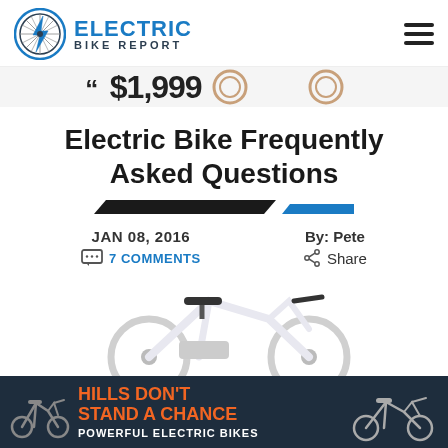[Figure (logo): Electric Bike Report logo with lightning bolt bicycle wheel icon and blue text]
[Figure (infographic): Partial banner strip showing price graphic elements]
Electric Bike Frequently Asked Questions
[Figure (other): Decorative title divider with dark and blue angled lines]
JAN 08, 2016
By: Pete
7 COMMENTS
Share
[Figure (photo): White electric bike partially visible from the top]
[Figure (infographic): Advertisement banner: Hills Don't Stand a Chance - Powerful Electric Bikes, with bike silhouettes on dark navy background]